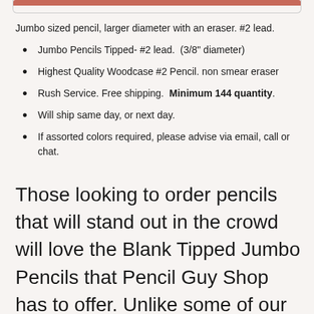Jumbo sized pencil, larger diameter with an eraser. #2 lead.
Jumbo Pencils Tipped- #2 lead.  (3/8" diameter)
Highest Quality Woodcase #2 Pencil. non smear eraser
Rush Service. Free shipping.  Minimum 144 quantity.
Will ship same day, or next day.
If assorted colors required, please advise via email, call or chat.
Those looking to order pencils that will stand out in the crowd will love the Blank Tipped Jumbo Pencils that Pencil Guy Shop has to offer. Unlike some of our smaller personalized imprinted pencils, these pencils